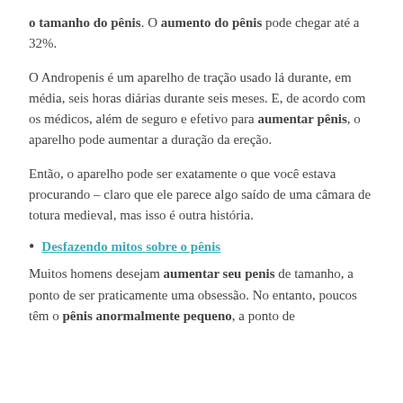o tamanho do pênis. O aumento do pênis pode chegar até a 32%.
O Andropenis é um aparelho de tração usado lá durante, em média, seis horas diárias durante seis meses. E, de acordo com os médicos, além de seguro e efetivo para aumentar pênis, o aparelho pode aumentar a duração da ereção.
Então, o aparelho pode ser exatamente o que você estava procurando – claro que ele parece algo saído de uma câmara de totura medieval, mas isso é outra história.
Desfazendo mitos sobre o pênis
Muitos homens desejam aumentar seu penis de tamanho, a ponto de ser praticamente uma obsessão. No entanto, poucos têm o pênis anormalmente pequeno, a ponto de